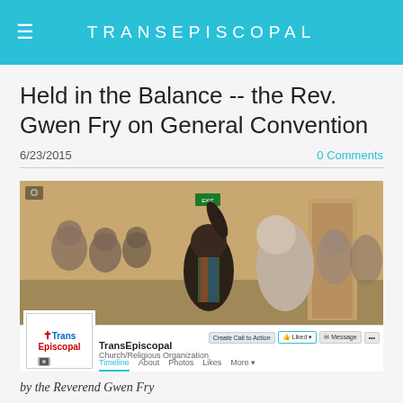TRANSEPISCOPAL
Held in the Balance -- the Rev. Gwen Fry on General Convention
6/23/2015
0 Comments
[Figure (screenshot): Screenshot of TransEpiscopal Facebook page showing a cover photo of people gathered in a room with one person raising their hand, overlaid with the Facebook page UI showing the TransEpiscopal logo, page name, Church/Religious Organization label, and navigation tabs (Timeline, About, Photos, Likes, More).]
by the Reverend Gwen Fry